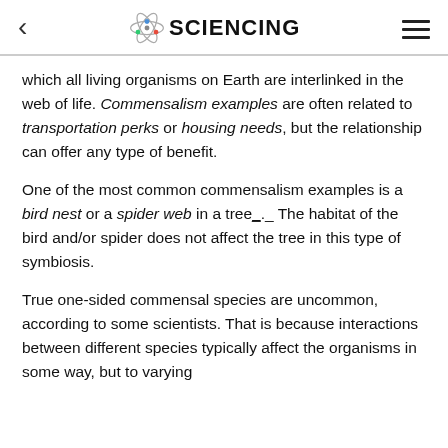SCIENCING
which all living organisms on Earth are interlinked in the web of life. Commensalism examples are often related to transportation perks or housing needs, but the relationship can offer any type of benefit.
One of the most common commensalism examples is a bird nest or a spider web in a tree_. The habitat of the bird and/or spider does not affect the tree in this type of symbiosis.
True one-sided commensal species are uncommon, according to some scientists. That is because interactions between different species typically affect the organisms in some way, but to varying